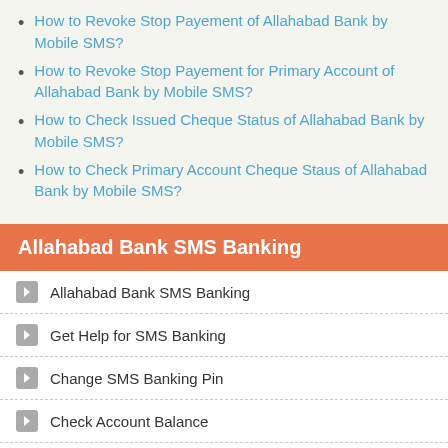How to Revoke Stop Payement of Allahabad Bank by Mobile SMS?
How to Revoke Stop Payement for Primary Account of Allahabad Bank by Mobile SMS?
How to Check Issued Cheque Status of Allahabad Bank by Mobile SMS?
How to Check Primary Account Cheque Staus of Allahabad Bank by Mobile SMS?
Allahabad Bank SMS Banking
Allahabad Bank SMS Banking
Get Help for SMS Banking
Change SMS Banking Pin
Check Account Balance
Check Primary Account Balance
View Last Five Transactions
View Primary Account Last Five Transactions